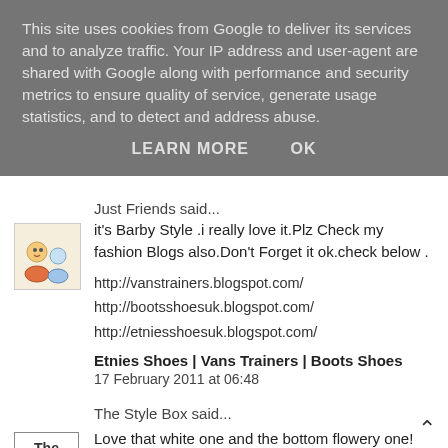This site uses cookies from Google to deliver its services and to analyze traffic. Your IP address and user-agent are shared with Google along with performance and security metrics to ensure quality of service, generate usage statistics, and to detect and address abuse.
LEARN MORE   OK
Just Friends said...
it's Barby Style .i really love it.Plz Check my fashion Blogs also.Don't Forget it ok.check below .
http://vanstrainers.blogspot.com/
http://bootsshoesuk.blogspot.com/
http://etniesshoesuk.blogspot.com/
Etnies Shoes | Vans Trainers | Boots Shoes
17 February 2011 at 06:48
The Style Box said...
Love that white one and the bottom flowery one! beautiful! I'm finding lots of companies recently that seemed to have upped their game in the dress department! which is great!